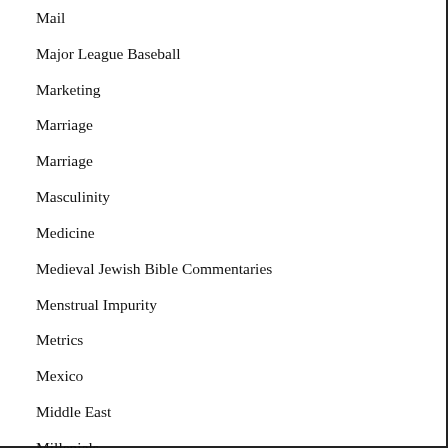Mail
Major League Baseball
Marketing
Marriage
Marriage
Masculinity
Medicine
Medieval Jewish Bible Commentaries
Menstrual Impurity
Metrics
Mexico
Middle East
Millenials
Mishnah
Modern Orthodoxy